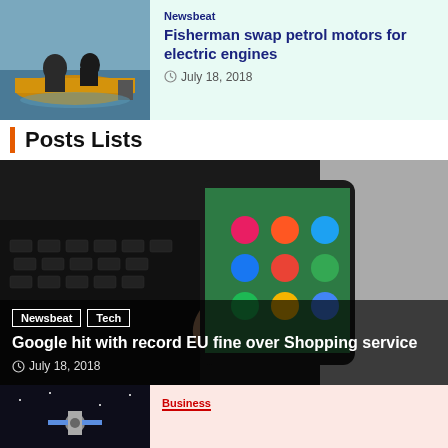[Figure (photo): People in a boat on water, viewed from behind]
Newsbeat
Fisherman swap petrol motors for electric engines
July 18, 2018
Posts Lists
[Figure (photo): Hand holding a smartphone with app icons visible, keyboard in background. Tags: Newsbeat, Tech. Title: Google hit with record EU fine over Shopping service. Date: July 18, 2018]
[Figure (photo): Dark image of a satellite or spacecraft]
Business